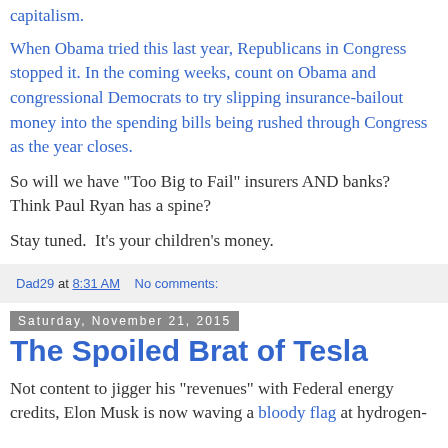capitalism.
When Obama tried this last year, Republicans in Congress stopped it. In the coming weeks, count on Obama and congressional Democrats to try slipping insurance-bailout money into the spending bills being rushed through Congress as the year closes.
So will we have "Too Big to Fail" insurers AND banks?  Think Paul Ryan has a spine?
Stay tuned.  It's your children's money.
Dad29 at 8:31 AM    No comments:
Saturday, November 21, 2015
The Spoiled Brat of Tesla
Not content to jigger his "revenues" with Federal energy credits, Elon Musk is now waving a bloody flag at hydrogen-